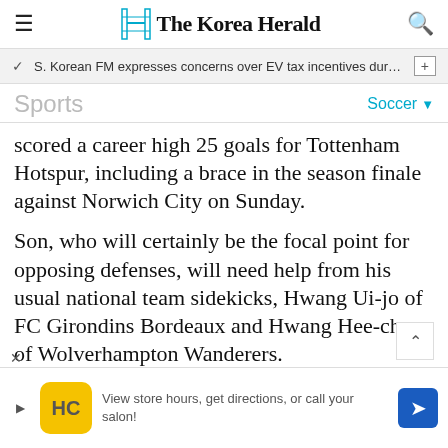The Korea Herald
S. Korean FM expresses concerns over EV tax incentives during c…
Sports
scored a career high 25 goals for Tottenham Hotspur, including a brace in the season finale against Norwich City on Sunday.
Son, who will certainly be the focal point for opposing defenses, will need help from his usual national team sidekicks, Hwang Ui-jo of FC Girondins Bordeaux and Hwang Hee-chan of Wolverhampton Wanderers.
The two Hwangs both had down years for
View store hours, get directions, or call your salon!